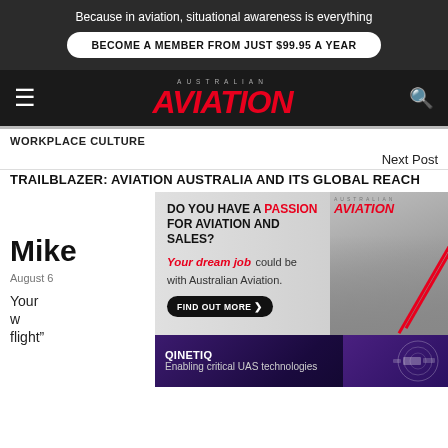Because in aviation, situational awareness is everything
BECOME A MEMBER FROM JUST $99.95 A YEAR
AUSTRALIAN AVIATION
WORKPLACE CULTURE
Next Post
TRAILBLAZER: AVIATION AUSTRALIA AND ITS GLOBAL REACH
[Figure (infographic): Australian Aviation job advertisement: DO YOU HAVE A PASSION FOR AVIATION AND SALES? Your dream job could be with Australian Aviation. FIND OUT MORE button. Shows two people in discussion with red diagonal stripe design.]
[Figure (infographic): QinetiQ advertisement: Enabling critical UAS technologies. Purple/blue background with drone imagery.]
Mike
August 6
Your w... kly flight"